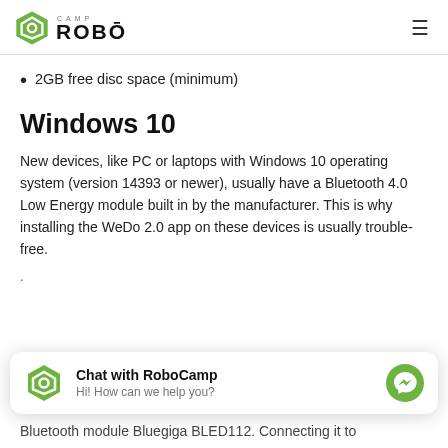ROBO CAMP
2GB free disc space (minimum)
Windows 10
New devices, like PC or laptops with Windows 10 operating system (version 14393 or newer), usually have a Bluetooth 4.0 Low Energy module built in by the manufacturer. This is why installing the WeDo 2.0 app on these devices is usually trouble-free.
Chat with RoboCamp
Hi! How can we help you?
Bluetooth module Bluegiga BLED112. Connecting it to